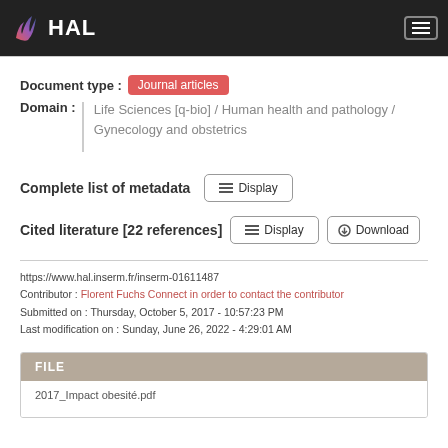HAL
Document type : Journal articles
Domain : Life Sciences [q-bio] / Human health and pathology / Gynecology and obstetrics
Complete list of metadata   Display
Cited literature [22 references]   Display   Download
https://www.hal.inserm.fr/inserm-01611487
Contributor : Florent Fuchs Connect in order to contact the contributor
Submitted on : Thursday, October 5, 2017 - 10:57:23 PM
Last modification on : Sunday, June 26, 2022 - 4:29:01 AM
FILE
2017_Impact obesité.pdf